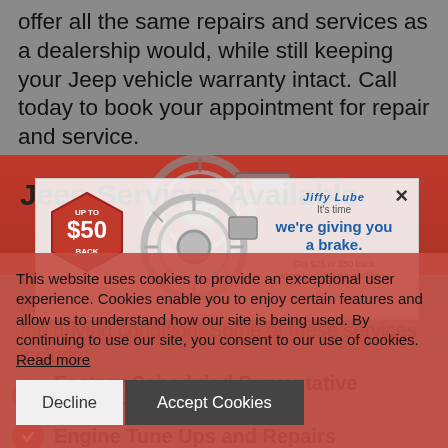offer all the same repairs and services as a dealership would, while still keeping your Jeep vehicle warranty intact. Call today to book your appointment for repair and service.
Jeep Services Available
[Figure (infographic): Jiffy Lube brake service ad with hexagon badge showing 'UP TO $50 BACK' and brake rotor image. Text reads 'we're giving you a brake. Get $25 or $50 back when you choose qualifying...']
We offer a wide range of repair and maintenance services to keep your vehicle in top driving condition. Some of these services include:
Factory Scheduled Preventative Maintenance
Engine Tune Ups and Repairs
Oil and Filter Service
This website uses cookies to provide an exceptional user experience. Cookies enable you to enjoy certain features and allow us to understand how our site is being used. By continuing to use our site, you consent to our use of cookies. Read more